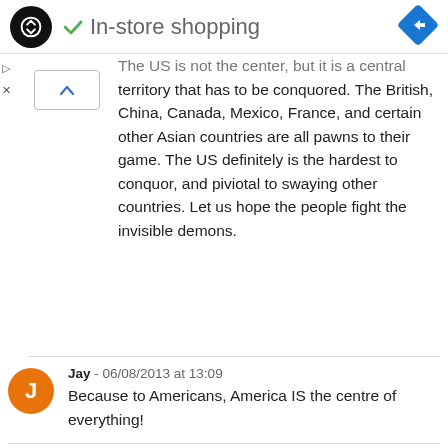[Figure (logo): Black circular logo with double arrow/loop icon, green checkmark, 'In-store shopping' text header, blue diamond navigation icon on right]
The US is not the center, but it is a central territory that has to be conquored. The British, China, Canada, Mexico, France, and certain other Asian countries are all pawns to their game. The US definitely is the hardest to conquor, and piviotal to swaying other countries. Let us hope the people fight the invisible demons.
Jay - 06/08/2013 at 13:09
Because to Americans, America IS the centre of everything!